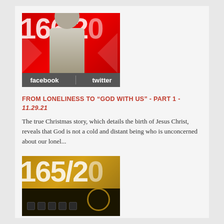[Figure (photo): Thumbnail image showing '166/20' text overlay with a person standing in front of a red background, with facebook and twitter social media icons below]
FROM LONELINESS TO “GOD WITH US” - PART 1 - 11.29.21
The true Christmas story, which details the birth of Jesus Christ, reveals that God is not a cold and distant being who is unconcerned about our lonel...
Speaker: Pastor Dudley Rutherford
[Figure (photo): Thumbnail image showing '165/20' text overlay on a gold/dark background with a stage scene with lights at the bottom]